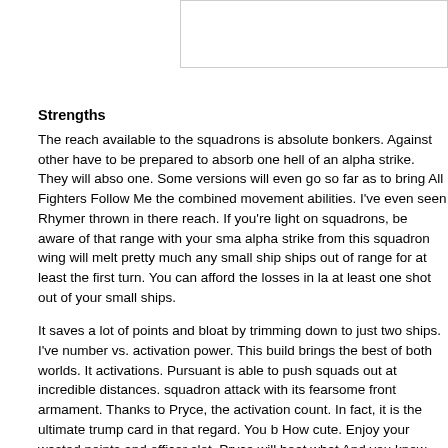[Figure (other): Partial image or box visible at top right of page]
Strengths
The reach available to the squadrons is absolute bonkers. Against other have to be prepared to absorb one hell of an alpha strike. They will abso one. Some versions will even go so far as to bring All Fighters Follow Me the combined movement abilities. I've even seen Rhymer thrown in there reach. If you're light on squadrons, be aware of that range with your sma alpha strike from this squadron wing will melt pretty much any small ship ships out of range for at least the first turn. You can afford the losses in la at least one shot out of your small ships.
It saves a lot of points and bloat by trimming down to just two ships. I've number vs. activation power. This build brings the best of both worlds. It activations. Pursuant is able to push squads out at incredible distances. squadron attack with its fearsome front armament. Thanks to Pryce, the activation count. In fact, it is the ultimate trump card in that regard. You b How cute. Enjoy your wasted points and officer slot. Pryce will beat what And you know what’s worse than a Squall alpha strike or an ISD getting Having them hit you again at the top the next turn. This build is highly like well. By reducing the bloat, it saves a lot of points for a bid.